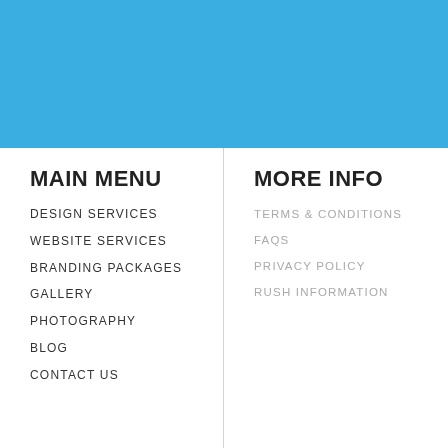[Figure (other): Blue header background banner]
MAIN MENU
DESIGN SERVICES
WEBSITE SERVICES
BRANDING PACKAGES
GALLERY
PHOTOGRAPHY
BLOG
CONTACT US
MORE INFO
TERMS & CONDITIONS
FAQS
PRIVACY POLICY
RUSH INFORMATION
WE ACCEPT